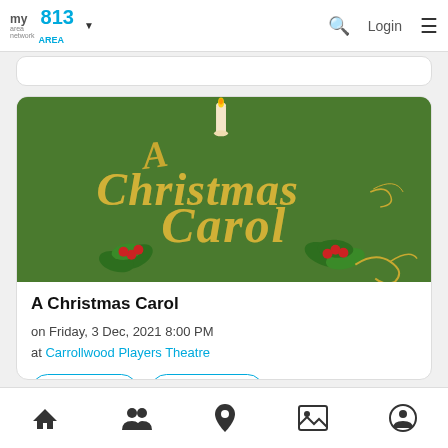my area network | 813 AREA — Login
[Figure (illustration): A Christmas Carol event banner with gold script lettering on a green background, decorated with holly, berries, and a candle at top.]
A Christmas Carol
on Friday, 3 Dec, 2021 8:00 PM
at Carrollwood Players Theatre
+ Attending   ★ Interested
Home | People | Location | Gallery | Profile